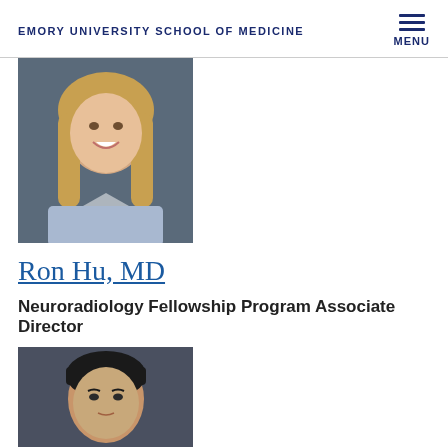EMORY UNIVERSITY SCHOOL OF MEDICINE
[Figure (photo): Headshot of a woman with long blonde hair wearing a light blue striped shirt, smiling against a dark background]
Ron Hu, MD
Neuroradiology Fellowship Program Associate Director
[Figure (photo): Headshot of an Asian man with dark hair against a dark background]